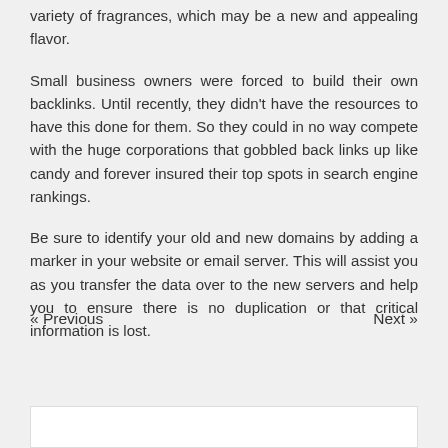variety of fragrances, which may be a new and appealing flavor.
Small business owners were forced to build their own backlinks. Until recently, they didn't have the resources to have this done for them. So they could in no way compete with the huge corporations that gobbled back links up like candy and forever insured their top spots in search engine rankings.
Be sure to identify your old and new domains by adding a marker in your website or email server. This will assist you as you transfer the data over to the new servers and help you to ensure there is no duplication or that critical information is lost.
« Previous    Next »